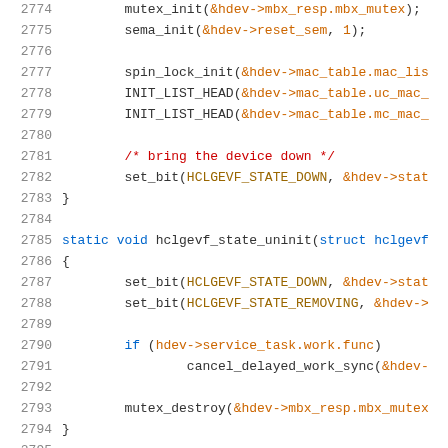Source code listing, lines 2774-2795, showing C kernel driver code for hclgevf device initialization and uninitialization functions.